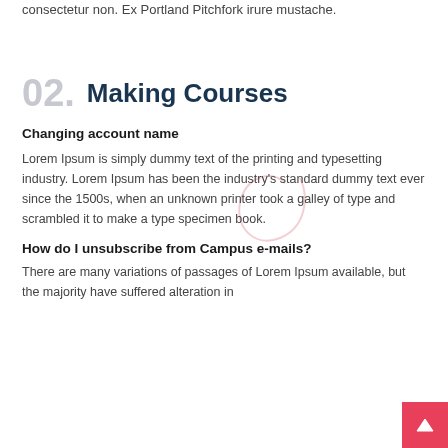consectetur non. Ex Portland Pitchfork irure mustache.
02. Making Courses
Changing account name
Lorem Ipsum is simply dummy text of the printing and typesetting industry. Lorem Ipsum has been the industry's standard dummy text ever since the 1500s, when an unknown printer took a galley of type and scrambled it to make a type specimen book.
How do I unsubscribe from Campus e-mails?
There are many variations of passages of Lorem Ipsum available, but the majority have suffered alteration in